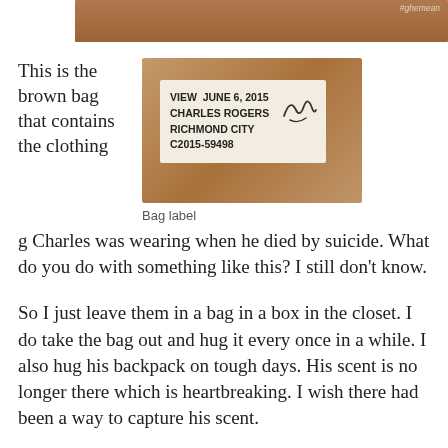[Figure (photo): Partial photo of a person with a watch visible, with hashtag watermark in top right corner]
This is the brown bag that contains the clothing Charles was wearing when he died by suicide. What do you do with something like this? I still don't know.
[Figure (photo): Photo of a brown bag with a white label reading: VIEW JUNE 6, 2015 CHARLES ROGERS RICHMOND CITY C2015-59498, with a signature on the right side]
Bag label
So I just leave them in a bag in a box in the closet. I do take the bag out and hug it every once in a while. I also hug his backpack on tough days. His scent is no longer there which is heartbreaking. I wish there had been a way to capture his scent.